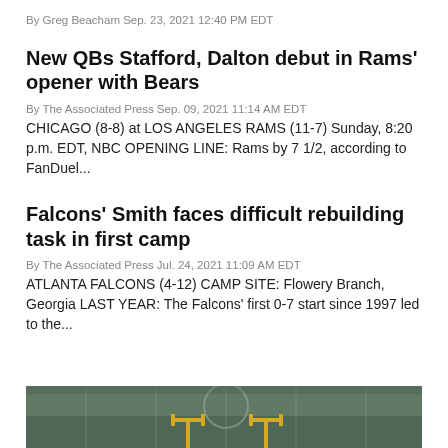By Greg Beacham Sep. 23, 2021 12:40 PM EDT
New QBs Stafford, Dalton debut in Rams' opener with Bears
By The Associated Press Sep. 09, 2021 11:14 AM EDT
CHICAGO (8-8) at LOS ANGELES RAMS (11-7) Sunday, 8:20 p.m. EDT, NBC OPENING LINE: Rams by 7 1/2, according to FanDuel...
Falcons' Smith faces difficult rebuilding task in first camp
By The Associated Press Jul. 24, 2021 11:09 AM EDT
ATLANTA FALCONS (4-12) CAMP SITE: Flowery Branch, Georgia LAST YEAR: The Falcons' first 0-7 start since 1997 led to the...
[Figure (photo): Bottom strip showing a football field with yellow goalposts visible]